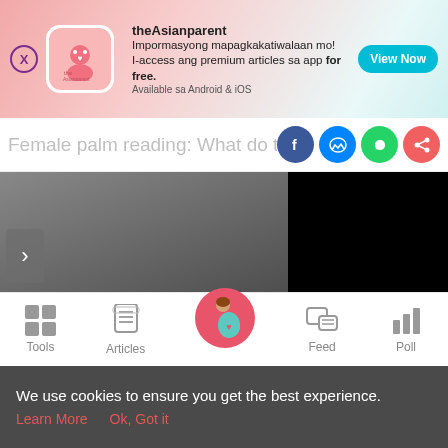[Figure (screenshot): theAsianparent app advertisement banner with pink gradient background, app icon, promotional text in Filipino, and View Now button]
Female palm reading: What do these
[Figure (photo): Article hero image with dark background and theAsianparent logo watermark, carousel navigation arrow on left, black video overlay on right]
7 min read
[Figure (screenshot): Bottom navigation bar with Tools, Articles, Home (pregnant woman icon in pink circle), Feed, and Poll icons]
We use cookies to ensure you get the best experience. Learn More  Ok, Got it